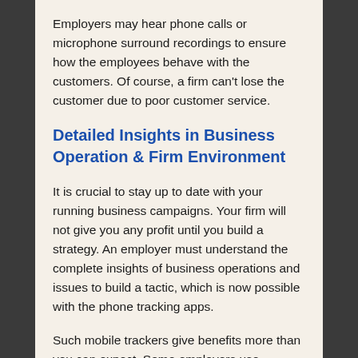Employers may hear phone calls or microphone surround recordings to ensure how the employees behave with the customers. Of course, a firm can't lose the customer due to poor customer service.
Detailed Insights in Business Operation & Firm Environment
It is crucial to stay up to date with your running business campaigns. Your firm will not give you any profit until you build a strategy. An employer must understand the complete insights of business operations and issues to build a tactic, which is now possible with the phone tracking apps.
Such mobile trackers give benefits more than you can expect. Some employers use abusive language and mistreat employees. The company owner also uses a cell phone tracker app that can build a bullying-free office environment. Its microphone surround feature lets you know if your